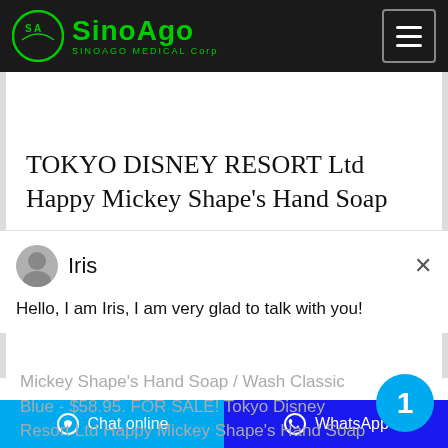[Figure (logo): SinoAgo Medical Corp logo with green circular emblem and green text on dark background header]
TOKYO DISNEY RESORT Ltd Happy Mickey Shape's Hand Soap
[Figure (screenshot): Chat popup with agent named Iris showing avatar photo and message: Hello, I am Iris, I am very glad to talk with you!]
Mickey Shape's Hand Soap / Wash Classic Blue - $58.95. FOR SALE! Tokyo Disney Resort Ltd Happy Mickey Shape's Hand Soap / ...
Chat online   WhatsApp